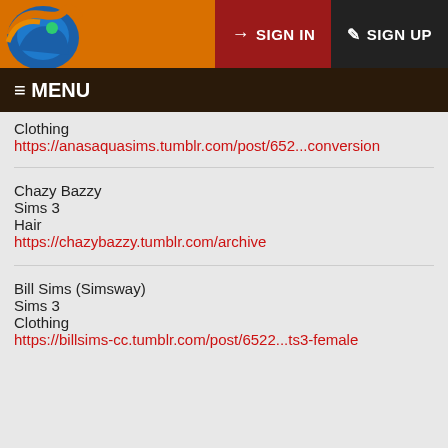SIGN IN  SIGN UP
≡ MENU
Clothing
https://anasaquasims.tumblr.com/post/652...conversion
Chazy Bazzy
Sims 3
Hair
https://chazybazzy.tumblr.com/archive
Bill Sims (Simsway)
Sims 3
Clothing
https://billsims-cc.tumblr.com/post/6522...ts3-female